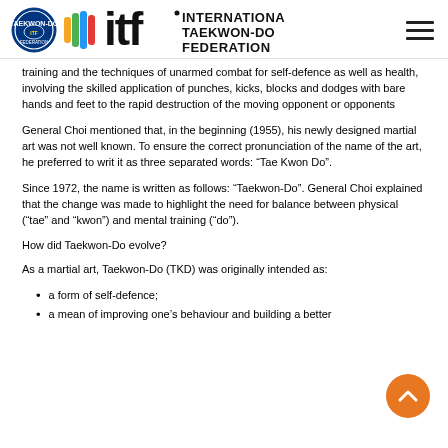International Taekwon-Do Federation
training and the techniques of unarmed combat for self-defence as well as health, involving the skilled application of punches, kicks, blocks and dodges with bare hands and feet to the rapid destruction of the moving opponent or opponents
General Choi mentioned that, in the beginning (1955), his newly designed martial art was not well known. To ensure the correct pronunciation of the name of the art, he preferred to writ it as three separated words: “Tae Kwon Do”.
Since 1972, the name is written as follows: “Taekwon-Do”. General Choi explained that the change was made to highlight the need for balance between physical (“tae” and “kwon”) and mental training (“do”).
How did Taekwon-Do evolve?
As a martial art, Taekwon-Do (TKD) was originally intended as:
a form of self-defence;
a mean of improving one’s behaviour and building a better